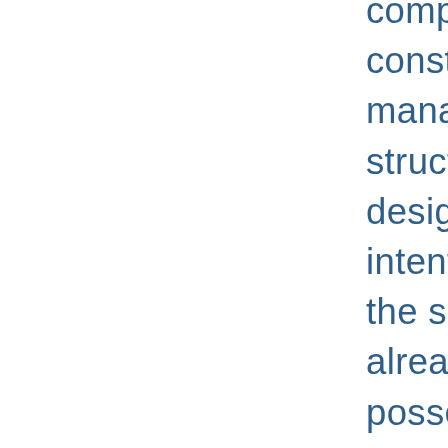computer graphics, construction management, structural/civil design (justify the intentions of add the specializations already mentioned, posses a catalog descriptions and a suggested class schedule and course information). The Student Services Report was attached as well as the Alumni Report, the Academic